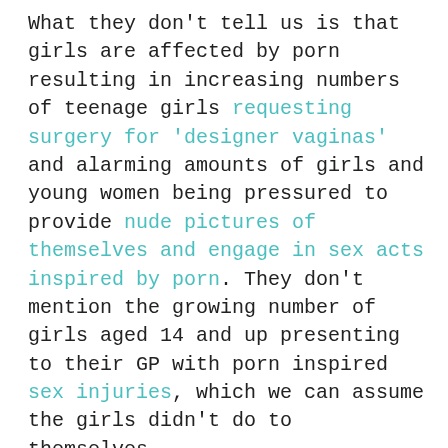What they don't tell us is that girls are affected by porn resulting in increasing numbers of teenage girls requesting surgery for 'designer vaginas' and alarming amounts of girls and young women being pressured to provide nude pictures of themselves and engage in sex acts inspired by porn. They don't mention the growing number of girls aged 14 and up presenting to their GP with porn inspired sex injuries, which we can assume the girls didn't do to themselves.

But none of this is even hinted at because Gonzo is void of female perspective. Until towards the end when real life porn producer Gala Vanting enters the stage. This woman has a vested interest in maintaining a positive